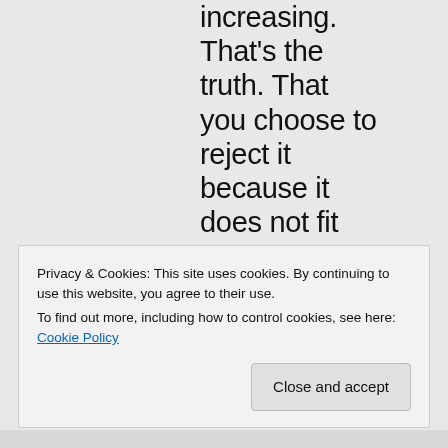increasing. That's the truth. That you choose to reject it because it does not fit your prejudices is your problem.
Like
Privacy & Cookies: This site uses cookies. By continuing to use this website, you agree to their use.
To find out more, including how to control cookies, see here: Cookie Policy
Close and accept